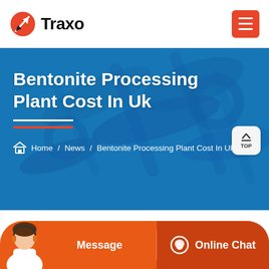Traxo
Bentonite Processing Plant Cost In Uk
Home / News / Bentonite Processing Plant Cost In Uk
Hot Products
Message
Online Chat